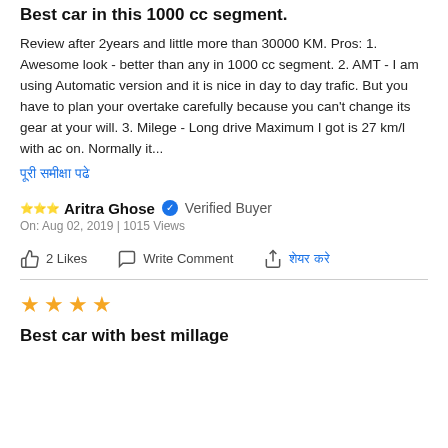Best car in this 1000 cc segment.
Review after 2years and little more than 30000 KM. Pros: 1. Awesome look - better than any in 1000 cc segment. 2. AMT - I am using Automatic version and it is nice in day to day trafic. But you have to plan your overtake carefully because you can't change its gear at your will. 3. Milege - Long drive Maximum I got is 27 km/l with ac on. Normally it...
पूरी समीक्षा पढे
⭐⭐⭐ Aritra Ghose ✔ Verified Buyer
On: Aug 02, 2019 | 1015 Views
2 Likes   Write Comment   शेयर करे
[Figure (other): Horizontal divider line]
[Figure (other): 4 orange star rating]
Best car with best millage